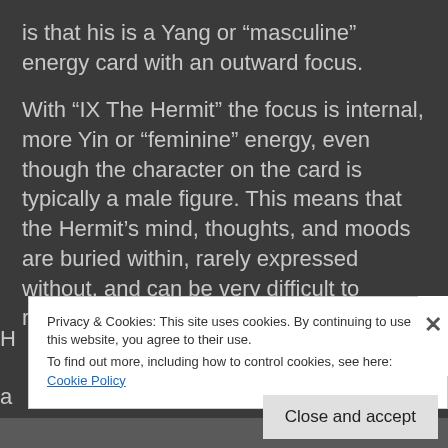is that his is a Yang or “masculine” energy card with an outward focus.
With “IX The Hermit” the focus is internal, more Yin or “feminine” energy, even though the character on the card is typically a male figure. This means that the Hermit’s mind, thoughts, and moods are buried within, rarely expressed without, and can be very difficult to reach.
Privacy & Cookies: This site uses cookies. By continuing to use this website, you agree to their use.
To find out more, including how to control cookies, see here: Cookie Policy
Close and accept